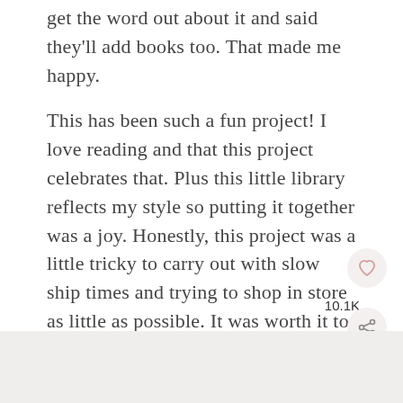get the word out about it and said they'll add books too. That made me happy.
This has been such a fun project! I love reading and that this project celebrates that. Plus this little library reflects my style so putting it together was a joy. Honestly, this project was a little tricky to carry out with slow ship times and trying to shop in store as little as possible. It was worth it to push past the barriers, but it did feel like it took extra long because it was harder to do.